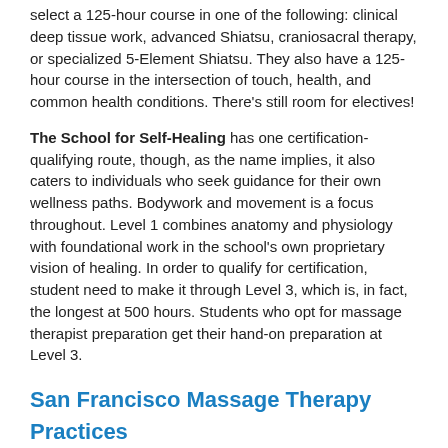select a 125-hour course in one of the following: clinical deep tissue work, advanced Shiatsu, craniosacral therapy, or specialized 5-Element Shiatsu. They also have a 125-hour course in the intersection of touch, health, and common health conditions. There’s still room for electives!
The School for Self-Healing has one certification-qualifying route, though, as the name implies, it also caters to individuals who seek guidance for their own wellness paths. Bodywork and movement is a focus throughout. Level 1 combines anatomy and physiology with foundational work in the school’s own proprietary vision of healing. In order to qualify for certification, student need to make it through Level 3, which is, in fact, the longest at 500 hours. Students who opt for massage therapist preparation get their hand-on preparation at Level 3.
San Francisco Massage Therapy Practices
International Orange is a local chain. The website currently lists 26 massage therapists. International Orange counts among its specialties oncology massage.
Oxygen Massage Therapy is another small San Francisco